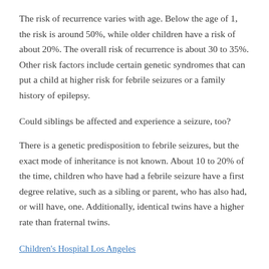The risk of recurrence varies with age. Below the age of 1, the risk is around 50%, while older children have a risk of about 20%. The overall risk of recurrence is about 30 to 35%. Other risk factors include certain genetic syndromes that can put a child at higher risk for febrile seizures or a family history of epilepsy.
Could siblings be affected and experience a seizure, too?
There is a genetic predisposition to febrile seizures, but the exact mode of inheritance is not known. About 10 to 20% of the time, children who have had a febrile seizure have a first degree relative, such as a sibling or parent, who has also had, or will have, one. Additionally, identical twins have a higher rate than fraternal twins.
Children's Hospital Los Angeles